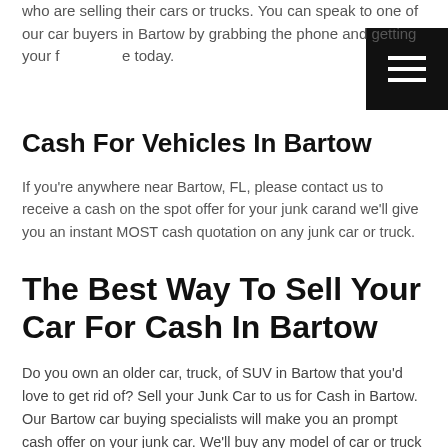who are selling their cars or trucks. You can speak to one of our car buyers in Bartow by grabbing the phone and getting your free quote today.
Cash For Vehicles In Bartow
If you're anywhere near Bartow, FL, please contact us to receive a cash on the spot offer for your junk carand we'll give you an instant MOST cash quotation on any junk car or truck.
The Best Way To Sell Your Car For Cash In Bartow
Do you own an older car, truck, of SUV in Bartow that you'd love to get rid of? Sell your Junk Car to us for Cash in Bartow. Our Bartow car buying specialists will make you an prompt cash offer on your junk car. We'll buy any model of car or truck in any condition, junk, damaged, old, broken down, running or not. When you need to sell a junk automobile in Bartow, we're your go to local area car buyer. Do you have an abandoned vehicle that's an absolute eye-sore on your